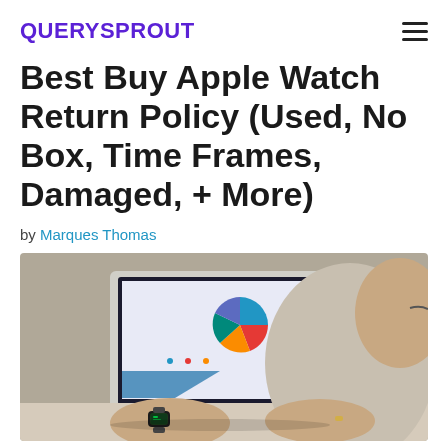QUERYSPROUT
Best Buy Apple Watch Return Policy (Used, No Box, Time Frames, Damaged, + More)
by Marques Thomas
[Figure (photo): Person wearing an Apple Watch typing on a laptop keyboard. The laptop screen shows a colorful pie chart presentation. Shot from behind/side angle showing the person's wrists and hands.]